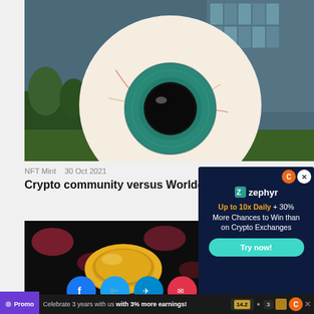[Figure (photo): Large eyeball sculpture placed outdoors in front of a glass office building, with trees visible in the background. The sculpture is a giant white sphere with a teal/green iris and black pupil, with red veins on the surface.]
NFT Mint   30 Oct 2021
Crypto community versus Worldcoin
[Figure (photo): Close-up of a gold cryptocurrency coin glowing against a dark background with colorful blurred lights.]
[Figure (infographic): Advertisement popup for Zephyr. Dark blue background with Zephyr logo. Text reads: Up to 10x Daily + 30% More Chances to Win than on Crypto Exchanges. Green Try now! button.]
Promo   Celebrate 3 years with us with 3% more earnings!   14.2   3